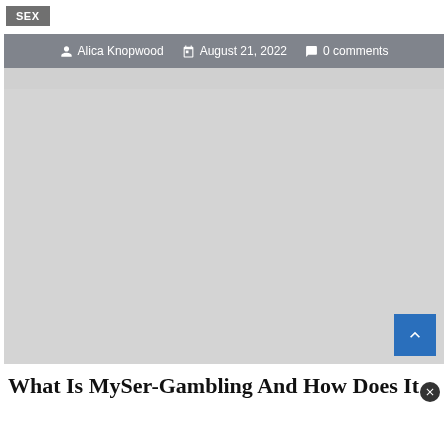Sex
[Figure (photo): Article header area with author meta bar (Alica Knopwood, August 21, 2022, 0 comments) over a gray placeholder image area, with a blue back-to-top button in the bottom right]
What Is MySer-Gambling And How Does It